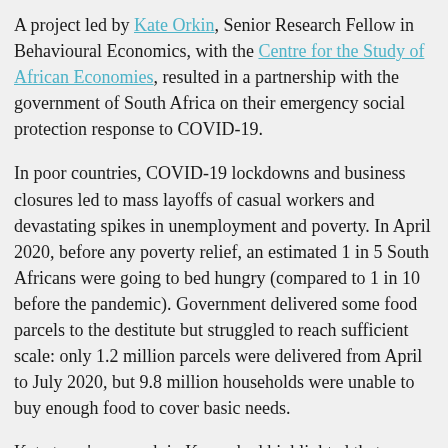A project led by Kate Orkin, Senior Research Fellow in Behavioural Economics, with the Centre for the Study of African Economies, resulted in a partnership with the government of South Africa on their emergency social protection response to COVID-19.
In poor countries, COVID-19 lockdowns and business closures led to mass layoffs of casual workers and devastating spikes in unemployment and poverty. In April 2020, before any poverty relief, an estimated 1 in 5 South Africans were going to bed hungry (compared to 1 in 10 before the pandemic). Government delivered some food parcels to the destitute but struggled to reach sufficient scale: only 1.2 million parcels were delivered from April to July 2020, but 9.8 million households were unable to buy enough food to cover basic needs.
Kate team's research in Kenya had highlighted that sending